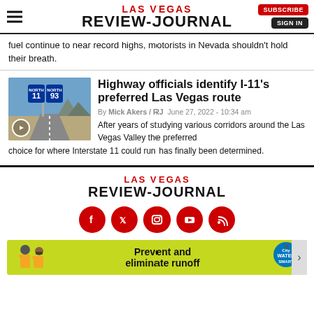LAS VEGAS REVIEW-JOURNAL
fuel continue to near record highs, motorists in Nevada shouldn't hold their breath.
Highway officials identify I-11's preferred Las Vegas route
By Mick Akers / RJ   June 27, 2022 - 10:34 am
After years of studying various corridors around the Las Vegas Valley the preferred choice for where Interstate 11 could run has finally been determined.
[Figure (photo): Road sign showing Interstate 11 and US Route 93 North in desert highway setting with a play button overlay]
LAS VEGAS REVIEW-JOURNAL
Social media icons: Facebook, Twitter, Instagram, YouTube, RSS
[Figure (infographic): Advertisement banner with yellow-green background showing workers in safety vests with text 'Prevent and eliminate runoff' and City Water Smart logo]